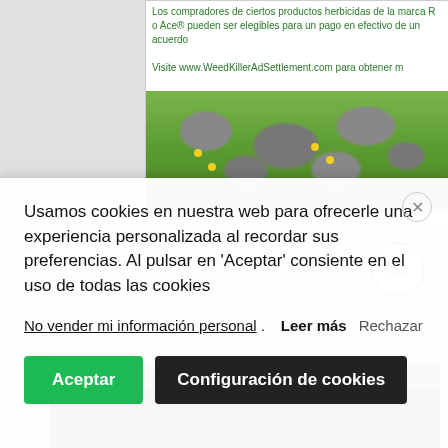[Figure (screenshot): Top advertisement banner for WeedKillerAdSettlement.com with green text and a garden/stones photo with yellow flowers]
[Figure (photo): Weathered white-painted wooden boards with a brown dirt ledge at the bottom and a circular 'Soy Wooly' logo badge in the top right corner]
[Figure (photo): Black image bar below the wood photo, content obscured]
[Figure (screenshot): Dark strip at the bottom of the page content area]
Usamos cookies en nuestra web para ofrecerle una experiencia personalizada al recordar sus preferencias. Al pulsar en 'Aceptar' consiente en el uso de todas las cookies
No vender mi información personal. Leer más Rechazar
Aceptar
Configuración de cookies